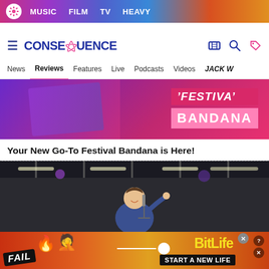MUSIC  FILM  TV  HEAVY
CONSEQUENCE
News  Reviews  Features  Live  Podcasts  Videos  JACK W
[Figure (photo): Festival bandana advertisement banner with pink and purple background showing 'FESTIVAL BANDANA' text]
Your New Go-To Festival Bandana is Here!
[Figure (photo): Concert photo of a male performer singing into a microphone on stage, smiling, wearing a blue jacket]
[Figure (photo): BitLife mobile game advertisement with red/orange fiery background, FAIL text, flame emoji, BitLife logo, and 'START A NEW LIFE' text]